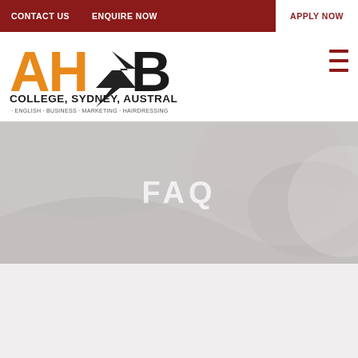CONTACT US | ENQUIRE NOW | APPLY NOW
[Figure (logo): AHsB College, Sydney, Australia logo with orange AH letters and black 3B letters, tagline: ENGLISH · BUSINESS · MARKETING · HAIRDRESSING]
FAQ
[Figure (photo): Gray toned background hero image with FAQ text overlay, decorative curved shapes in background]